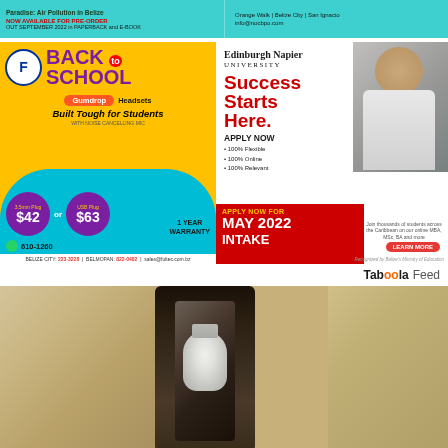[Figure (advertisement): Top banner - left: teal background ad for book about air pollution in Belize, NOW AVAILABLE FOR PRE-ORDER, OUT SEPTEMBER 2022 in PAPERBACK and E-BOOK]
[Figure (advertisement): Top banner - right: teal background ad with Orange Walk | Belize City | San Ignacio, info@nocbpo.com]
[Figure (advertisement): Left ad: Fultec Systems BACK to SCHOOL - Gumdrop Headsets Built Tough for Students. 3.5mm Plug $42 or USB Plug $63. WhatsApp 610-1260. 1 YEAR WARRANTY. BELIZE CITY: 223-3228 | BELMOPAN: 822-0482 | sales@fultec.com.bz]
[Figure (advertisement): Right ad: Edinburgh Napier University - Success Starts Here. APPLY NOW. 100% Flexible, 100% Online, 100% Relevant. APPLY NOW FOR MAY 2022 INTAKE. Join thousands of students across the Caribbean on our online MBA, MSc, BA and more. LEARN MORE. Recognized by Belize's Ministry of Education]
[Figure (logo): Taboola Feed logo/branding text in top right]
[Figure (photo): Close-up photograph of an outdoor wall light fixture mounted on a stucco/textured wall, showing a dark metal lantern housing with a white LED light bulb inside]